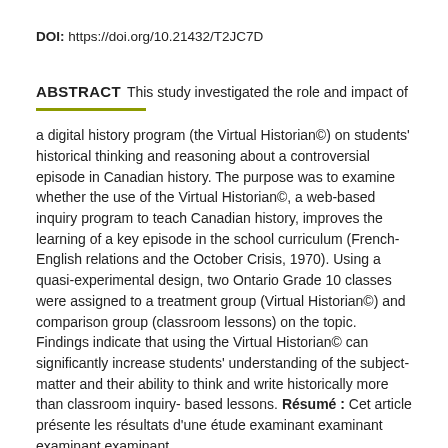DOI: https://doi.org/10.21432/T2JC7D
ABSTRACT This study investigated the role and impact of a digital history program (the Virtual Historian©) on students' historical thinking and reasoning about a controversial episode in Canadian history. The purpose was to examine whether the use of the Virtual Historian©, a web-based inquiry program to teach Canadian history, improves the learning of a key episode in the school curriculum (French-English relations and the October Crisis, 1970). Using a quasi-experimental design, two Ontario Grade 10 classes were assigned to a treatment group (Virtual Historian©) and comparison group (classroom lessons) on the topic. Findings indicate that using the Virtual Historian© can significantly increase students' understanding of the subject-matter and their ability to think and write historically more than classroom inquiry-based lessons. Résumé : Cet article présente les résultats d'une étude examinant...